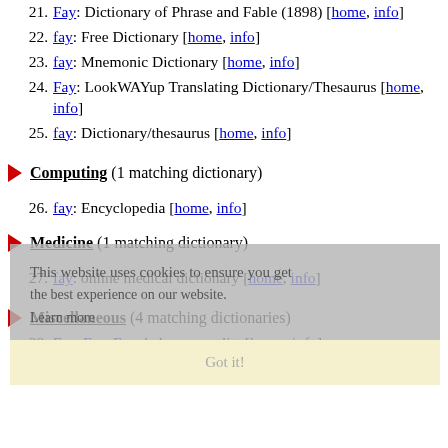21. Fay: Dictionary of Phrase and Fable (1898) [home, info]
22. fay: Free Dictionary [home, info]
23. fay: Mnemonic Dictionary [home, info]
24. Fay: LookWAYup Translating Dictionary/Thesaurus [home, info]
25. fay: Dictionary/thesaurus [home, info]
Computing (1 matching dictionary)
26. fay: Encyclopedia [home, info]
Medicine (1 matching dictionary)
27. fay: online medical dictionary [home, info]
Miscellaneous (4 matching dictionaries)
28. Fay, Fay, Fay: baby names list [home, info]